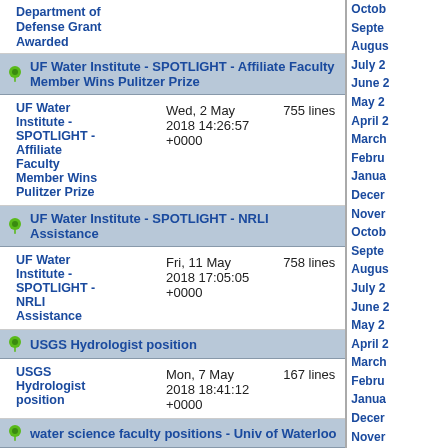Department of Defense Grant Awarded
UF Water Institute - SPOTLIGHT - Affiliate Faculty Member Wins Pulitzer Prize
UF Water Institute - SPOTLIGHT - Affiliate Faculty Member Wins Pulitzer Prize | Wed, 2 May 2018 14:26:57 +0000 | 755 lines
UF Water Institute - SPOTLIGHT - NRLI Assistance
UF Water Institute - SPOTLIGHT - NRLI Assistance | Fri, 11 May 2018 17:05:05 +0000 | 758 lines
USGS Hydrologist position
USGS Hydrologist position | Mon, 7 May 2018 18:41:12 +0000 | 167 lines
water science faculty positions - Univ of Waterloo
water science faculty
October
September
August
July 20
June 2
May 20
April 2
March
February
January
December
November
October
September
August
July 20
June 2
May 20
April 2
March
February
January
December
November
October
September
August
July 20
June 2
May 20
April 2
March